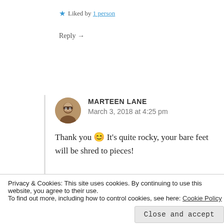★ Liked by 1 person
Reply →
MARTEEN LANE
March 3, 2018 at 4:25 pm
Thank you 😊 It's quite rocky, your bare feet will be shred to pieces!
★ Like
Reply →
Privacy & Cookies: This site uses cookies. By continuing to use this website, you agree to their use.
To find out more, including how to control cookies, see here: Cookie Policy
Close and accept
March 3, 2018 at 5:34 pm